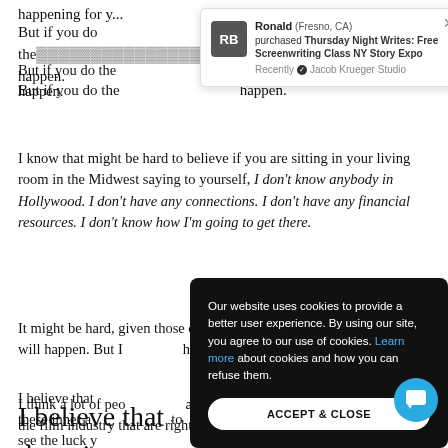happening for y...
[Figure (screenshot): Notification popup: Ronald (Fresno, CA) purchased Thursday Night Writes: Free Screenwriting Class NY Story Expo. Recently. Jacob Krueger Studio.]
But if you do the ... happen.
I know that might be hard to believe if you are sitting in your living room in the Midwest saying to yourself, I don't know anybody in Hollywood. I don't have any connections. I don't have any financial resources. I don't know how I'm going to get there.
It might be hard, given those circumstances, to believe that the luck will happen. But I ... have seen it happ...
[Figure (screenshot): Cookie consent overlay on dark background. Text: Our website uses cookies to provide a better user experience. By using our site, you agree to our use of cookies. Learn more about cookies and how you can refuse them. Button: ACCEPT & CLOSE. Chat icon in bottom right.]
I believe that... these inner a... to see the luck y... in front of yo...
I think a lot of peo... a screenwriting ca... to break into the film industry that are right in front of them in their